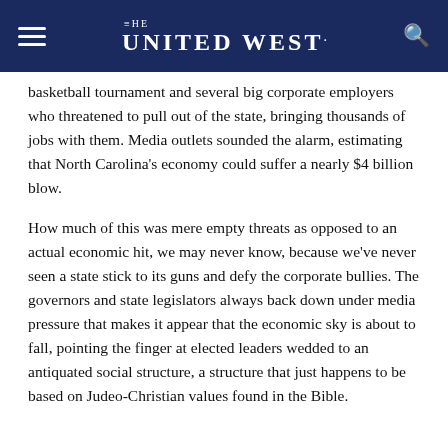THE UNITED WEST.
basketball tournament and several big corporate employers who threatened to pull out of the state, bringing thousands of jobs with them. Media outlets sounded the alarm, estimating that North Carolina's economy could suffer a nearly $4 billion blow.
How much of this was mere empty threats as opposed to an actual economic hit, we may never know, because we've never seen a state stick to its guns and defy the corporate bullies. The governors and state legislators always back down under media pressure that makes it appear that the economic sky is about to fall, pointing the finger at elected leaders wedded to an antiquated social structure, a structure that just happens to be based on Judeo-Christian values found in the Bible.